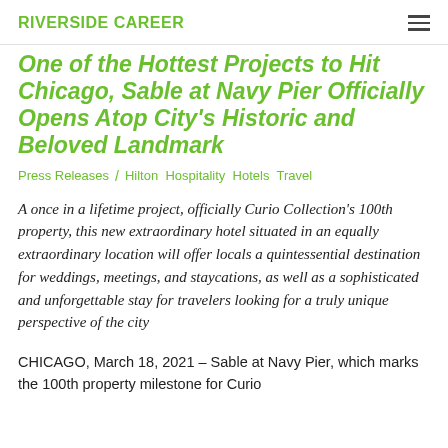RIVERSIDE CAREER
One of the Hottest Projects to Hit Chicago, Sable at Navy Pier Officially Opens Atop City's Historic and Beloved Landmark
Press Releases / Hilton Hospitality Hotels Travel
A once in a lifetime project, officially Curio Collection's 100th property, this new extraordinary hotel situated in an equally extraordinary location will offer locals a quintessential destination for weddings, meetings, and staycations, as well as a sophisticated and unforgettable stay for travelers looking for a truly unique perspective of the city
CHICAGO, March 18, 2021 – Sable at Navy Pier, which marks the 100th property milestone for Curio